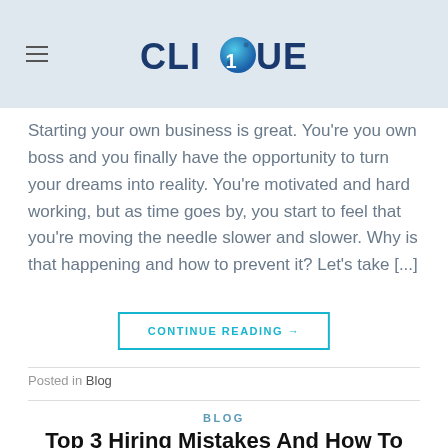CLIQUE (logo with navigation)
Starting your own business is great. You’re you own boss and you finally have the opportunity to turn your dreams into reality. You’re motivated and hard working, but as time goes by, you start to feel that you’re moving the needle slower and slower. Why is that happening and how to prevent it? Let’s take […]
CONTINUE READING →
Posted in Blog
BLOG
Top 3 Hiring Mistakes And How To Avoid Them